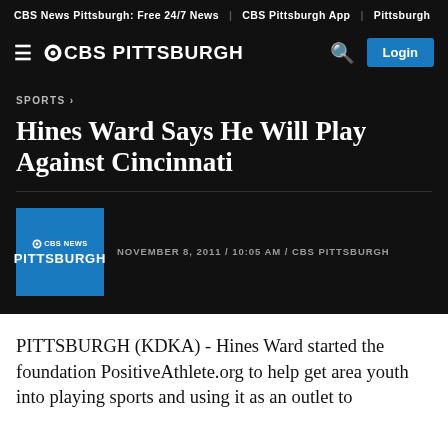CBS News Pittsburgh: Free 24/7 News | CBS Pittsburgh App | Pittsburgh
≡ ©CBS PITTSBURGH  🔍  Login
SPORTS ›
Hines Ward Says He Will Play Against Cincinnati
NOVEMBER 8, 2011 / 10:05 AM / CBS PITTSBURGH
PITTSBURGH (KDKA) - Hines Ward started the foundation PositiveAthlete.org to help get area youth into playing sports and using it as an outlet to